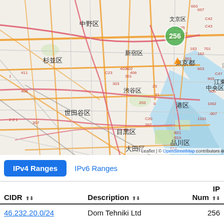[Figure (map): OpenStreetMap of Tokyo, Japan showing districts including 中野区, 杉並区, 新宿区, 渋谷区, 世田谷区, 目黒区, 品川区, 大田区, 港区, 中央区, 東京都, 台東区, 墨田区, 江東区 with road network. A green circle marker labeled 256 is placed near 文京区. Map has Leaflet attribution and © OpenStreetMap contributors.]
IPv4 Ranges (active tab) | IPv6 Ranges
| CIDR | Description | IP Num |
| --- | --- | --- |
| 46.232.20.0/24 | Dom Tehniki Ltd | 256 |